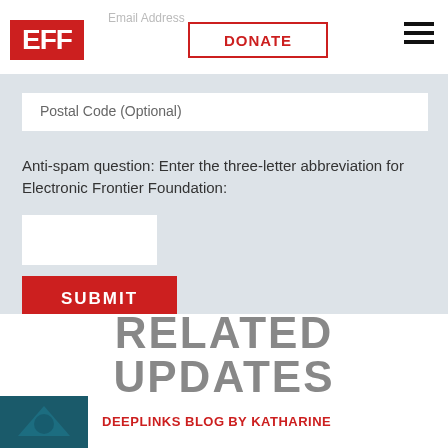EFF | Email Address | DONATE
Postal Code (Optional)
Anti-spam question: Enter the three-letter abbreviation for Electronic Frontier Foundation:
SUBMIT
RELATED UPDATES
DEEPLINKS BLOG BY KATHARINE